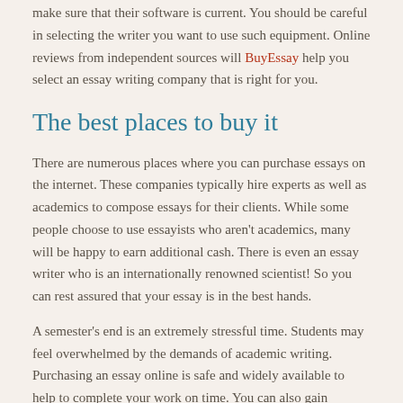make sure that their software is current. You should be careful in selecting the writer you want to use such equipment. Online reviews from independent sources will BuyEssay help you select an essay writing company that is right for you.
The best places to buy it
There are numerous places where you can purchase essays on the internet. These companies typically hire experts as well as academics to compose essays for their clients. While some people choose to use essayists who aren't academics, many will be happy to earn additional cash. There is even an essay writer who is an internationally renowned scientist! So you can rest assured that your essay is in the best hands.
A semester's end is an extremely stressful time. Students may feel overwhelmed by the demands of academic writing. Purchasing an essay online is safe and widely available to help to complete your work on time. You can also gain knowledge from your essay by small changes, or by adding thoughts or ideas. If you want to ensure you are getting the best mark you can, take a